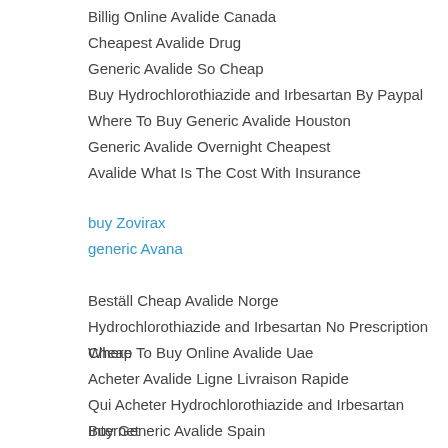Billig Online Avalide Canada
Cheapest Avalide Drug
Generic Avalide So Cheap
Buy Hydrochlorothiazide and Irbesartan By Paypal
Where To Buy Generic Avalide Houston
Generic Avalide Overnight Cheapest
Avalide What Is The Cost With Insurance
buy Zovirax
generic Avana
Beställ Cheap Avalide Norge
Hydrochlorothiazide and Irbesartan No Prescription Cheap
Where To Buy Online Avalide Uae
Acheter Avalide Ligne Livraison Rapide
Qui Acheter Hydrochlorothiazide and Irbesartan Internet
Buy Generic Avalide Spain
Hydrochlorothiazide and Irbesartan Safe To Buy Online
Acheter Cheap Avalide Amsterdam